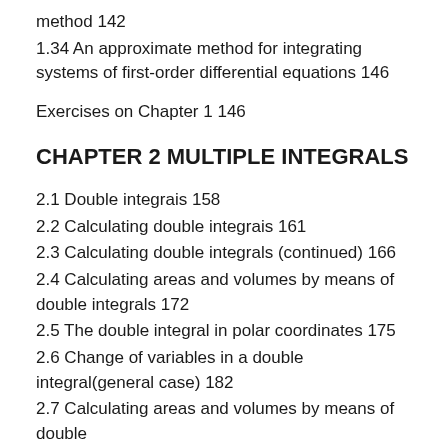method 142
1.34 An approximate method for integrating systems of first-order differential equations 146
Exercises on Chapter 1 146
CHAPTER 2 MULTIPLE INTEGRALS
2.1 Double integrais 158
2.2 Calculating double integrais 161
2.3 Calculating double integrals (continued) 166
2.4 Calculating areas and volumes by means of double integrals 172
2.5 The double integral in polar coordinates 175
2.6 Change of variables in a double integral(general case) 182
2.7 …